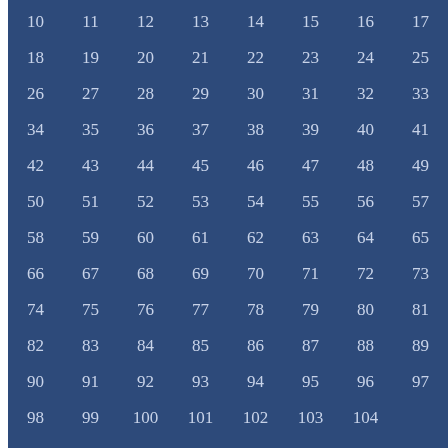| 10 | 11 | 12 | 13 | 14 | 15 | 16 | 17 |
| 18 | 19 | 20 | 21 | 22 | 23 | 24 | 25 |
| 26 | 27 | 28 | 29 | 30 | 31 | 32 | 33 |
| 34 | 35 | 36 | 37 | 38 | 39 | 40 | 41 |
| 42 | 43 | 44 | 45 | 46 | 47 | 48 | 49 |
| 50 | 51 | 52 | 53 | 54 | 55 | 56 | 57 |
| 58 | 59 | 60 | 61 | 62 | 63 | 64 | 65 |
| 66 | 67 | 68 | 69 | 70 | 71 | 72 | 73 |
| 74 | 75 | 76 | 77 | 78 | 79 | 80 | 81 |
| 82 | 83 | 84 | 85 | 86 | 87 | 88 | 89 |
| 90 | 91 | 92 | 93 | 94 | 95 | 96 | 97 |
| 98 | 99 | 100 | 101 | 102 | 103 | 104 |  |